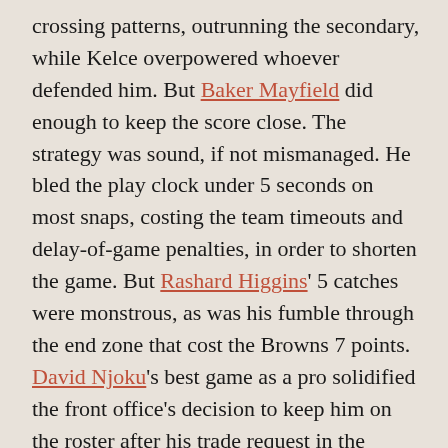crossing patterns, outrunning the secondary, while Kelce overpowered whoever defended him. But Baker Mayfield did enough to keep the score close. The strategy was sound, if not mismanaged. He bled the play clock under 5 seconds on most snaps, costing the team timeouts and delay-of-game penalties, in order to shorten the game. But Rashard Higgins' 5 catches were monstrous, as was his fumble through the end zone that cost the Browns 7 points. David Njoku's best game as a pro solidified the front office's decision to keep him on the roster after his trade request in the off-season. An opportunity slipped away, however, when Patrick Mahomes left the game with a concussion. Despite how the future looks, a myriad of decisions await